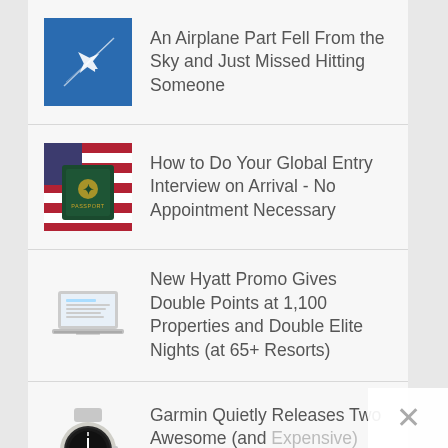An Airplane Part Fell From the Sky and Just Missed Hitting Someone
How to Do Your Global Entry Interview on Arrival - No Appointment Necessary
New Hyatt Promo Gives Double Points at 1,100 Properties and Double Elite Nights (at 65+ Resorts)
Garmin Quietly Releases Two Awesome (and Expensive) GPS Watches